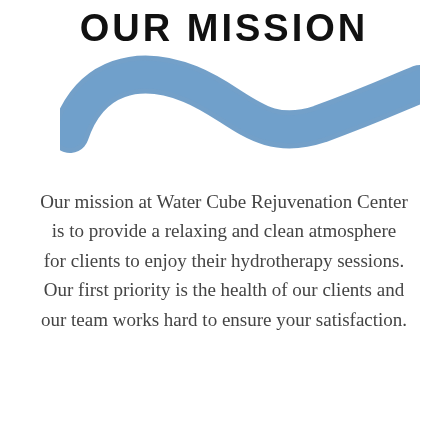OUR MISSION
[Figure (illustration): A decorative blue swoosh/wave graphic element]
Our mission at Water Cube Rejuvenation Center is to provide a relaxing and clean atmosphere for clients to enjoy their hydrotherapy sessions. Our first priority is the health of our clients and our team works hard to ensure your satisfaction.